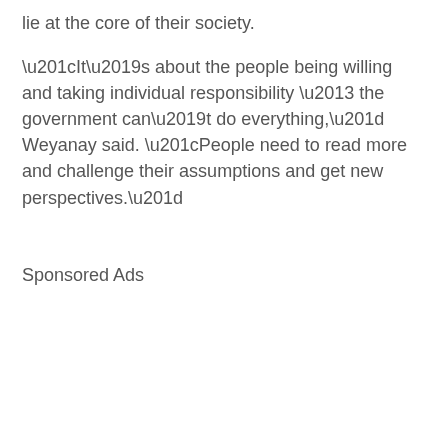lie at the core of their society.
“It’s about the people being willing and taking individual responsibility – the government can’t do everything,” Weyanay said. “People need to read more and challenge their assumptions and get new perspectives.”
Sponsored Ads